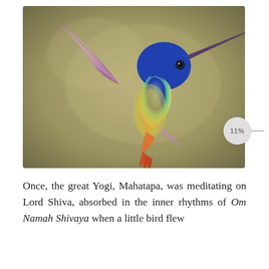[Figure (illustration): Digital artwork of a colorful hummingbird in flight against an olive/tan blurred background. The bird features purple wings, a deep blue head, a teal-to-yellow-green chest, and an orange-red tail. The wings are spread upward showing detailed feather striations.]
Once, the great Yogi, Mahatapa, was meditating on Lord Shiva, absorbed in the inner rhythms of Om Namah Shivaya when a little bird flew